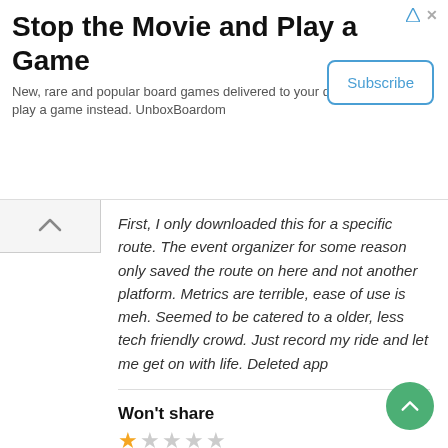Stop the Movie and Play a Game
New, rare and popular board games delivered to your door. Unplug and play a game instead. UnboxBoardom
Subscribe
First, I only downloaded this for a specific route. The event organizer for some reason only saved the route on here and not another platform. Metrics are terrible, ease of use is meh. Seemed to be catered to a older, less tech friendly crowd. Just record my ride and let me get on with life. Deleted app
Won't share
By Halad49
I am unable to share this with two people who want to follow my trip, to be sure I am OK. It worked at first and now it doesn't. I'm finding this app completely worthless.
Great app!